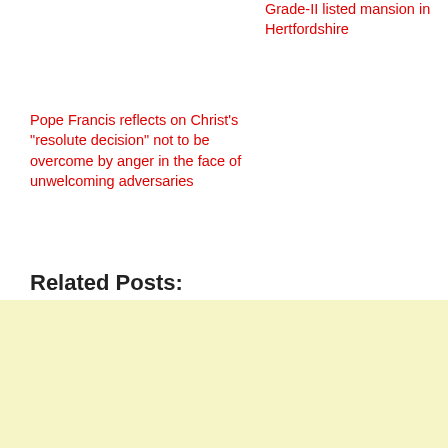Grade-II listed mansion in Hertfordshire
Pope Francis reflects on Christ's "resolute decision" not to be overcome by anger in the face of unwelcoming adversaries
Related Posts:
WW2 anti-aircraft battery Fort Borstal in Kent goes on the market for £1.5million A Victorian fort, which acted as an anti-aircraft battery in World War Two and has now been converted into a home, is on the
[Figure (other): Light yellow advertisement banner area at bottom of page]